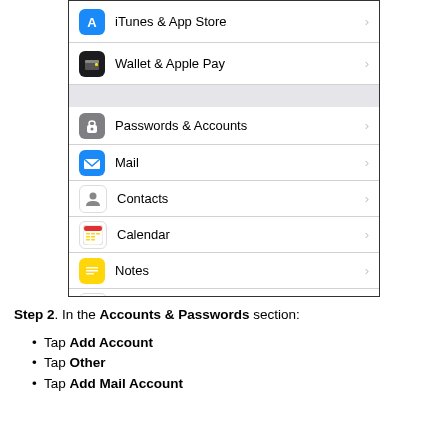[Figure (screenshot): iOS Settings app screenshot showing a list of settings rows: iTunes & App Store, Wallet & Apple Pay, (gray divider), Passwords & Accounts, Mail, Contacts, Calendar, Notes, Reminders, Voice Memos, Phone, Messages (with a black underline bar drawn over it)]
Step 2. In the Accounts & Passwords section:
Tap Add Account
Tap Other
Tap Add Mail Account